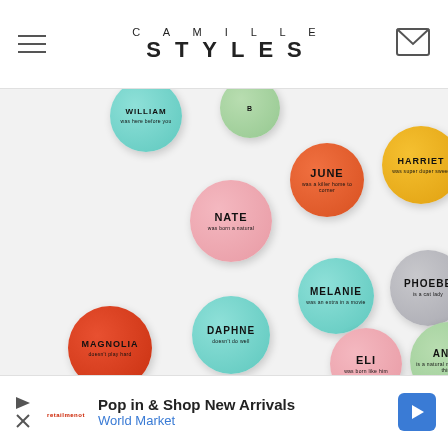CAMILLE STYLES
[Figure (photo): Colorful name buttons/badges scattered on a white background. Badges include names: WILLIAM, NATE, JUNE, HARRIET, MELANIE, PHOEBE, DAPHNE, ELI, MAGNOLIA, ANDY, SASHA, DAWSON, PENNY, BIANCA]
[Figure (other): Advertisement bar: Pop in & Shop New Arrivals - World Market]